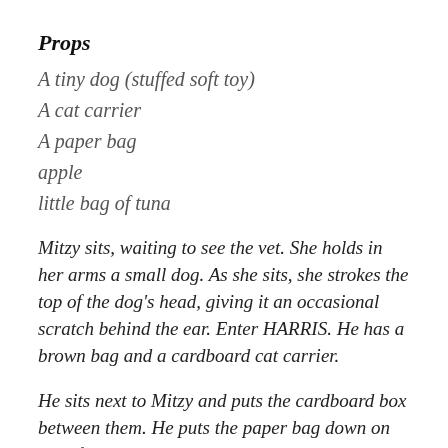Props
A tiny dog (stuffed soft toy)
A cat carrier
A paper bag
apple
little bag of tuna
Mitzy sits, waiting to see the vet. She holds in her arms a small dog. As she sits, she strokes the top of the dog's head, giving it an occasional scratch behind the ear. Enter HARRIS. He has a brown bag and a cardboard cat carrier.
He sits next to Mitzy and puts the cardboard box between them. He puts the paper bag down on top of the box. Trying to be subtle, such that he doesn't notice. Mitzi scoots sideways a bit, away from him.